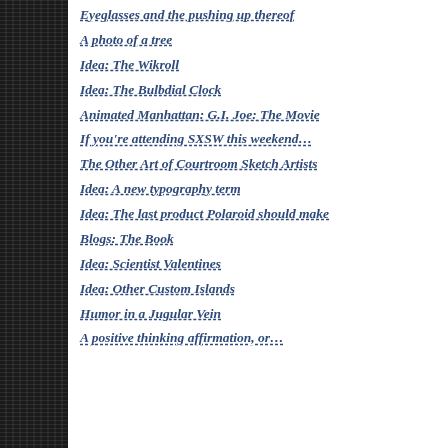Eyeglasses and the pushing up thereof
A photo of a tree
Idea: The Wikroll
Idea: The Bulbdial Clock
Animated Manhattan: G.I. Joe: The Movie
If you're attending SXSW this weekend…
The Other Art of Courtroom Sketch Artists
Idea: A new typography term
Idea: The last product Polaroid should make
Blogs: The Book
Idea: Scientist Valentines
Idea: Other Custom Islands
Humor in a Jugular Vein
A positive thinking affirmation, or…